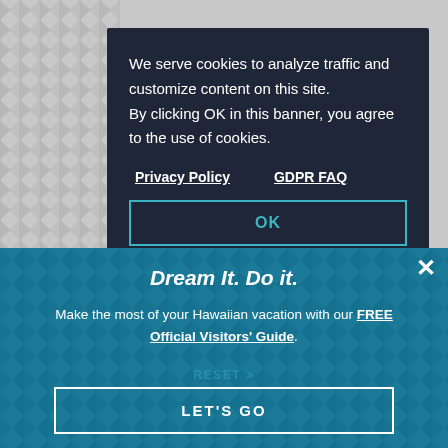We serve cookies to analyze traffic and customize content on this site. By clicking OK in this banner, you agree to the use of cookies.
Privacy Policy    GDPR FAQ
OK
Filters
BACK TO TOP
Dream It. Do it.
Make the most of your Hawaiian vacation with our FREE Official Visitors' Guide.
RESET > LET'S GO